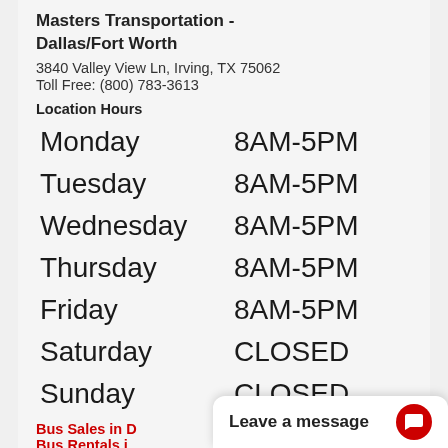Masters Transportation - Dallas/Fort Worth
3840 Valley View Ln, Irving, TX 75062
Toll Free: (800) 783-3613
Location Hours
| Day | Hours |
| --- | --- |
| Monday | 8AM-5PM |
| Tuesday | 8AM-5PM |
| Wednesday | 8AM-5PM |
| Thursday | 8AM-5PM |
| Friday | 8AM-5PM |
| Saturday | CLOSED |
| Sunday | CLOSED |
Bus Sales in D...
Bus Rentals i...
Leave a message